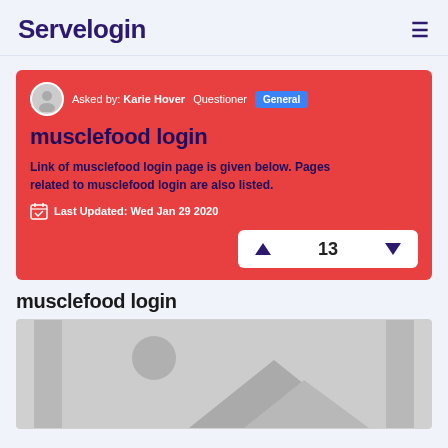Servelogin
Asked by: Karie Hover   Questioner   General
musclefood login
Link of musclefood login page is given below. Pages related to musclefood login are also listed.
Last Updated: Wed Jan 29 2020
musclefood login
[Figure (photo): Placeholder image with mountain and circle silhouette in gray]